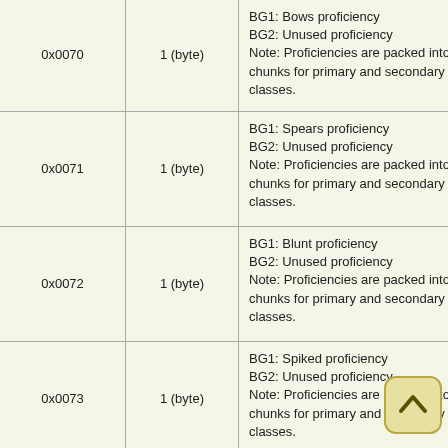| Address | Size | Description |
| --- | --- | --- |
| 0x0070 | 1 (byte) | BG1: Bows proficiency
BG2: Unused proficiency
Note: Proficiencies are packed into 3 chunks for primary and secondary classes. |
| 0x0071 | 1 (byte) | BG1: Spears proficiency
BG2: Unused proficiency
Note: Proficiencies are packed into 3 chunks for primary and secondary classes. |
| 0x0072 | 1 (byte) | BG1: Blunt proficiency
BG2: Unused proficiency
Note: Proficiencies are packed into 3 chunks for primary and secondary classes. |
| 0x0073 | 1 (byte) | BG1: Spiked proficiency
BG2: Unused proficiency
Note: Proficiencies are packed into 3 chunks for primary and secondary classes. |
| 0x0074 | 1 (byte) | BG1: Axe proficiency
BG2: Unused proficiency
Note: Proficiencies are packed into 3 chunks for primary and secondary classes. |
| 0x0075 | 1 (byte) | BG1: Missile proficiency
BG2: Unused proficiency
Note: Proficiencies are packed into 3 chunks for primary and secondary classes. |